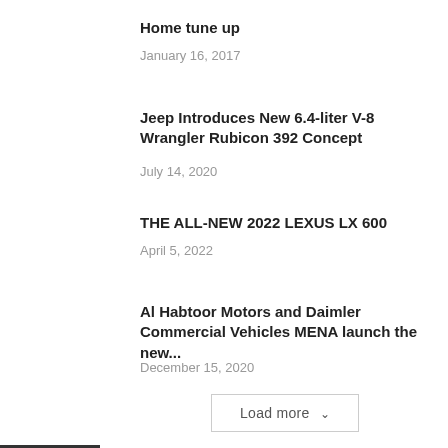Home tune up
January 16, 2017
Jeep Introduces New 6.4-liter V-8 Wrangler Rubicon 392 Concept
July 14, 2020
THE ALL-NEW 2022 LEXUS LX 600
April 5, 2022
Al Habtoor Motors and Daimler Commercial Vehicles MENA launch the new...
December 15, 2020
Load more